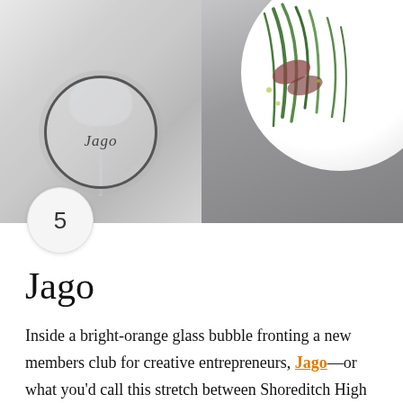[Figure (photo): Two photos side by side: left shows a wine glass on a circular coaster with 'Jago' written on it against a light marble/stone background; right shows a white plate with a green salad dish against a dark grey surface.]
5
Jago
Inside a bright-orange glass bubble fronting a new members club for creative entrepreneurs, Jago—or what you'd call this stretch between Shoreditch High Street and Spitalfields circa 1860—is not your typical Ashkenazi Mediterranean restaurant. Chef Louis